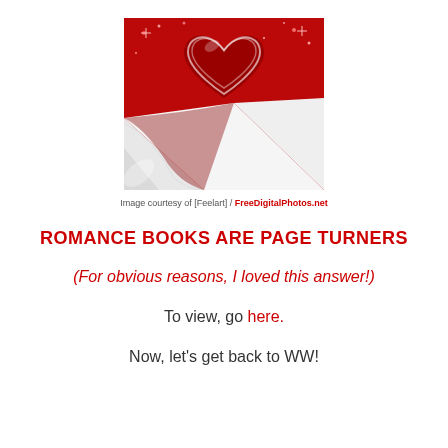[Figure (illustration): A red background with a shiny heart and a curling white page corner, resembling a romance book page turner.]
Image courtesy of [Feelart] / FreeDigitalPhotos.net
ROMANCE BOOKS ARE PAGE TURNERS
(For obvious reasons, I loved this answer!)
To view, go here.
Now, let's get back to WW!